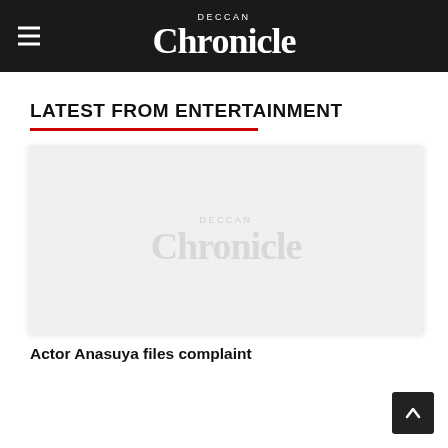Deccan Chronicle
LATEST FROM ENTERTAINMENT
[Figure (logo): Deccan Chronicle watermark placeholder image]
Actor Anasuya files complaint